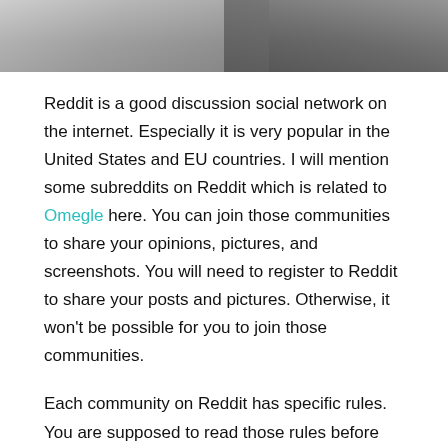[Figure (photo): Partial photo showing people, cropped at top of page]
Reddit is a good discussion social network on the internet. Especially it is very popular in the United States and EU countries. I will mention some subreddits on Reddit which is related to Omegle here. You can join those communities to share your opinions, pictures, and screenshots. You will need to register to Reddit to share your posts and pictures. Otherwise, it won't be possible for you to join those communities.
Each community on Reddit has specific rules. You are supposed to read those rules before making any publication. If you don't follow those rules and violate them over and over, you are going to be banned.
In the list below, you will find 3 communities on Reddit that